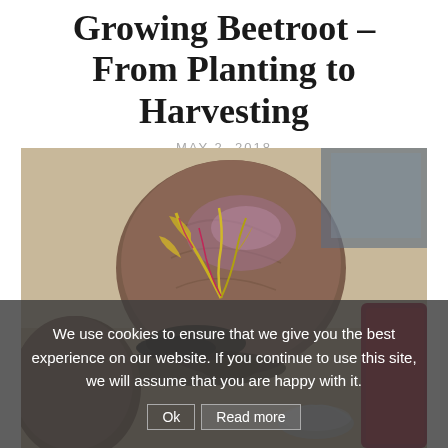Growing Beetroot – From Planting to Harvesting
MAY 2, 2018
[Figure (photo): Close-up photograph of raw beetroots with soil and yellow-green leaves/shoots, placed on a surface with a red beetroot slice visible on the right and a decorative glass object at the bottom.]
We use cookies to ensure that we give you the best experience on our website. If you continue to use this site, we will assume that you are happy with it.
Ok   Read more